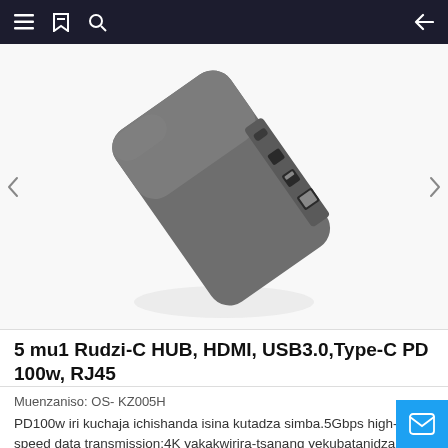Navigation bar with menu, bookmark, search icons and back arrow
[Figure (photo): Product photo of a dark gray USB-C hub device (5-in-1) shown at an angle, floating on white background with a soft shadow beneath it. The device shows multiple ports including HDMI and USB ports on its side.]
5 mu1 Rudzi-C HUB, HDMI, USB3.0, Type-C PD 100w, RJ45
Muenzaniso: OS- KZ005H
PD100w iri kuchaja ichishanda isina kutadza simba.5Gbps high-speed data transmission;4K yakakwirira-tsanang yekubatanidza kune akasiyana siyana ekuratidzira